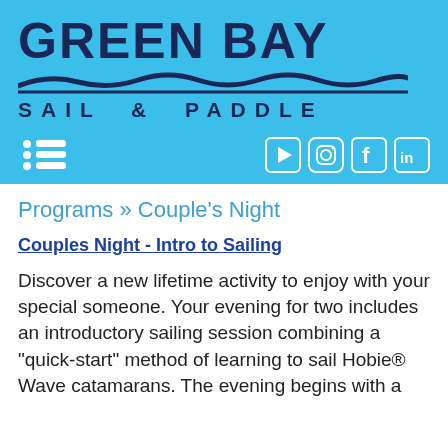[Figure (logo): Green Bay Sail & Paddle logo with wave graphic on cyan/blue background]
Programs » Couple's Night
Couples Night - Intro to Sailing
Discover a new lifetime activity to enjoy with your special someone. Your evening for two includes an introductory sailing session combining a "quick-start" method of learning to sail Hobie® Wave catamarans. The evening begins with a